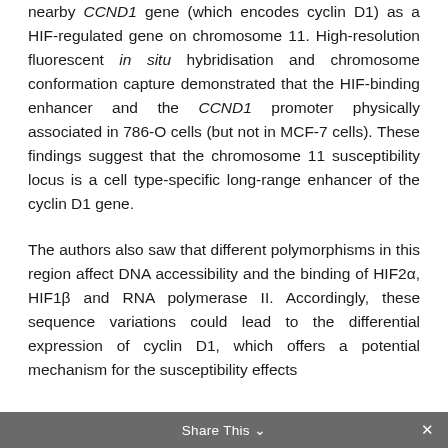nearby CCND1 gene (which encodes cyclin D1) as a HIF-regulated gene on chromosome 11. High-resolution fluorescent in situ hybridisation and chromosome conformation capture demonstrated that the HIF-binding enhancer and the CCND1 promoter physically associated in 786-O cells (but not in MCF-7 cells). These findings suggest that the chromosome 11 susceptibility locus is a cell type-specific long-range enhancer of the cyclin D1 gene.
The authors also saw that different polymorphisms in this region affect DNA accessibility and the binding of HIF2α, HIF1β and RNA polymerase II. Accordingly, these sequence variations could lead to the differential expression of cyclin D1, which offers a potential mechanism for the susceptibility effects
Share This ×